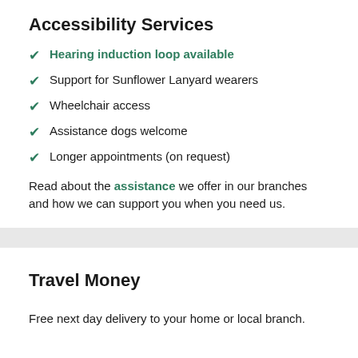Accessibility Services
Hearing induction loop available
Support for Sunflower Lanyard wearers
Wheelchair access
Assistance dogs welcome
Longer appointments (on request)
Read about the assistance we offer in our branches and how we can support you when you need us.
Travel Money
Free next day delivery to your home or local branch.